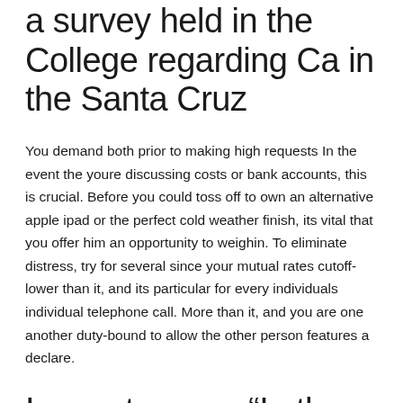a survey held in the College regarding Ca in the Santa Cruz
You demand both prior to making high requests In the event the youre discussing costs or bank accounts, this is crucial. Before you could toss off to own an alternative apple ipad or the perfect cold weather finish, its vital that you offer him an opportunity to weighin. To eliminate distress, try for several since your mutual rates cutoff-lower than it, and its particular for every individuals individual telephone call. More than it, and you are one another duty-bound to allow the other person features a declare.
In most cases, “In the event that the guy will bring this lady so you can orgasm first, you to tends to be a